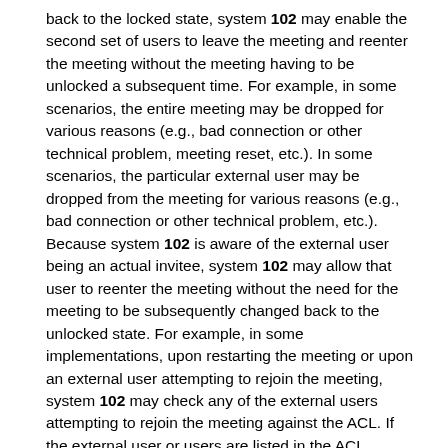back to the locked state, system 102 may enable the second set of users to leave the meeting and reenter the meeting without the meeting having to be unlocked a subsequent time. For example, in some scenarios, the entire meeting may be dropped for various reasons (e.g., bad connection or other technical problem, meeting reset, etc.). In some scenarios, the particular external user may be dropped from the meeting for various reasons (e.g., bad connection or other technical problem, etc.). Because system 102 is aware of the external user being an actual invitee, system 102 may allow that user to reenter the meeting without the need for the meeting to be subsequently changed back to the unlocked state. For example, in some implementations, upon restarting the meeting or upon an external user attempting to rejoin the meeting, system 102 may check any of the external users attempting to rejoin the meeting against the ACL. If the external user or users are listed in the ACL, system 102 may automatically grant access to those external users without needed to unlock the meeting.
In some implementations, if the meeting is locked and an external invitee has attempted but failed to join the